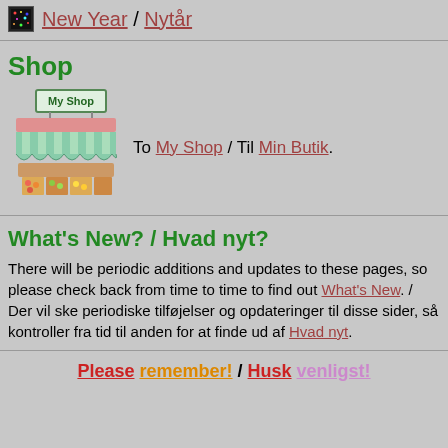New Year / Nytår
Shop
[Figure (illustration): Cartoon illustration of a shop stall with a sign reading 'My Shop', striped awning, and produce displayed in front.]
To My Shop / Til Min Butik.
What's New? / Hvad nyt?
There will be periodic additions and updates to these pages, so please check back from time to time to find out What's New. / Der vil ske periodiske tilføjelser og opdateringer til disse sider, så kontroller fra tid til anden for at finde ud af Hvad nyt.
Please remember! / Husk venligst!